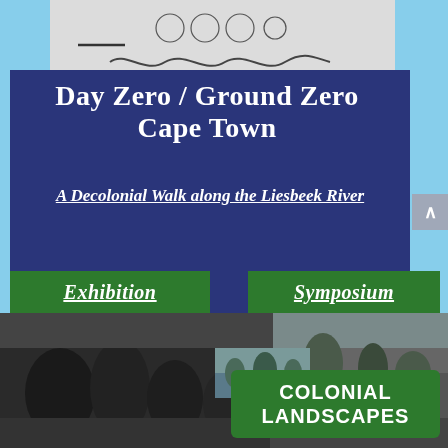[Figure (illustration): Black and white sketch/diagram showing snake-like worm figures and circular shapes, appearing to be a historical scientific illustration of parasites or worms on a light grey background]
Day Zero / Ground Zero Cape Town
A Decolonial Walk along the Liesbeek River
Exhibition
Symposium
[Figure (photo): Black and white historical photograph showing people on horseback and figures in a landscape scene]
[Figure (photo): Black and white historical photograph of a landscape with trees and water]
COLONIAL LANDSCAPES